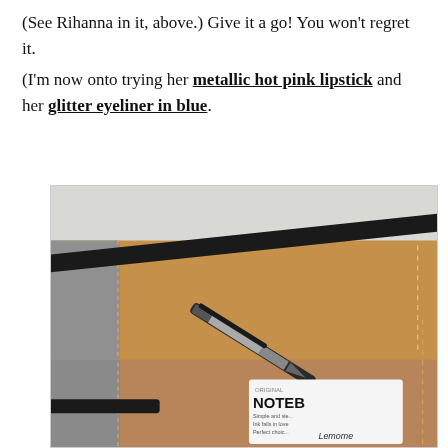(See Rihanna in it, above.) Give it a go! You won't regret it. (I'm now onto trying her metallic hot pink lipstick and her glitter eyeliner in blue.
[Figure (photo): Two brown leather notebooks with black elastic bands stacked on top of each other, with a black pen clipped between them and a white product label visible reading NOTEBOOK, Simple and sleek, Ink falls in love, Perfect choice, Lemome.]